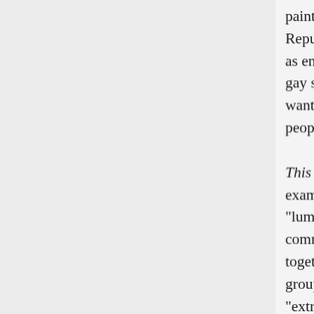paint the entire Republican Party as enjoying booing gay soldiers and wanting uninsured people to die.

This is a true example of "lumping an entire community together when a group of "extremists" does something